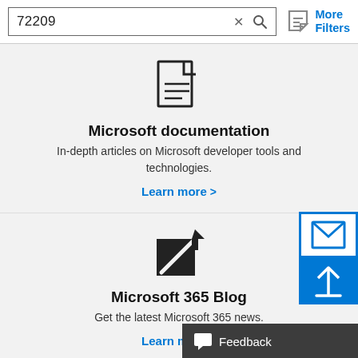72209
[Figure (screenshot): Search bar with text '72209', X and magnifier icons, and a filter funnel icon with 'More Filters' label in blue]
[Figure (illustration): Document/file icon (outline of a page with lines representing text)]
Microsoft documentation
In-depth articles on Microsoft developer tools and technologies.
Learn more >
[Figure (illustration): Edit/pencil icon (black square with diagonal pen/pencil line through it)]
Microsoft 365 Blog
Get the latest Microsoft 365 news.
Learn more >
[Figure (illustration): Email envelope icon (blue outlined square with envelope inside) and blue upload arrow icon below, partially visible on right edge]
Feedback